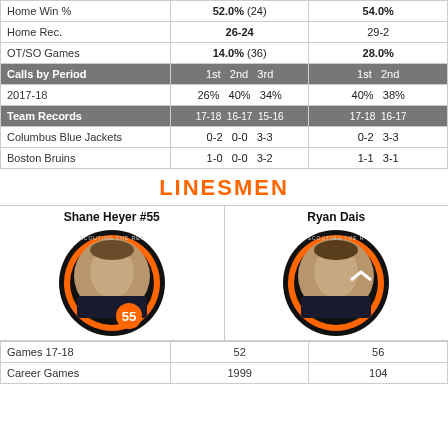|  | 1st col val | 2nd col val |
| --- | --- | --- |
| Home Win % | 52.0% (24) | 54.0% |
| Home Rec. | 26-24 | 29-2 |
| OT/SO Games | 14.0% (36) | 28.0% |
| Calls by Period | 1st / 2nd / 3rd | 1st / 2nd |
| 2017-18 | 26% / 40% / 34% | 40% / 38% |
| Team Records | 17-18 / 16-17 / 15-16 | 17-18 / 16-17 |
| Columbus Blue Jackets | 0-2 / 0-0 / 3-3 | 0-2 / 3-3 |
| Boston Bruins | 1-0 / 0-0 / 3-2 | 1-1 / 3-1 |
LINESMEN
Shane Heyer #55
Ryan Dais
[Figure (photo): Circular portrait photo of linesman Shane Heyer #55 wearing hockey gear, with orange and black circle border and number 55 badge]
[Figure (photo): Circular portrait photo of linesman Ryan Dais wearing hockey gear, with orange and black circle border]
|  | Shane Heyer #55 | Ryan Dais |
| --- | --- | --- |
| Games 17-18 | 52 | 56 |
| Career Games | 1999 | 104 |